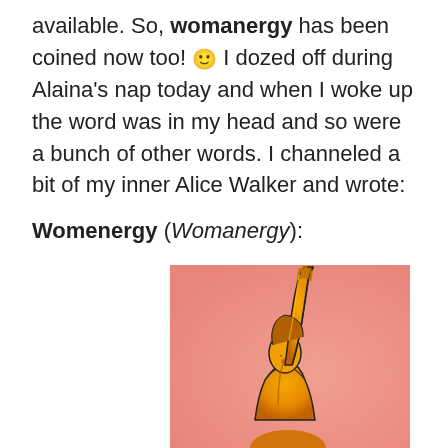available. So, womanergy has been coined now too! 🙂 I dozed off during Alaina's nap today and when I woke up the word was in my head and so were a bunch of other words. I channeled a bit of my inner Alice Walker and wrote:
Womenergy (Womanergy):
[Figure (illustration): Illustrated figure of a woman with golden/orange skin reaching one arm up high against a pink/salmon background, wearing a tank top, shown from roughly the torso up.]